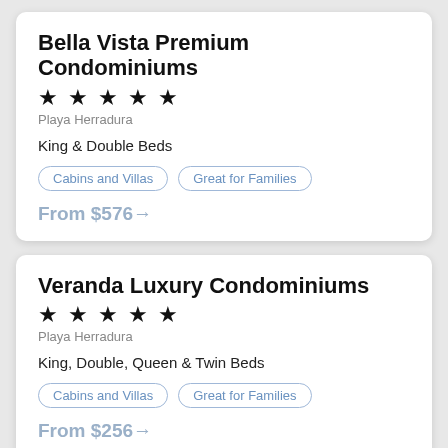Bella Vista Premium Condominiums
★★★★★ Playa Herradura
King & Double Beds
Cabins and Villas
Great for Families
From $576→
Veranda Luxury Condominiums
★★★★★ Playa Herradura
King, Double, Queen & Twin Beds
Cabins and Villas
Great for Families
From $256→